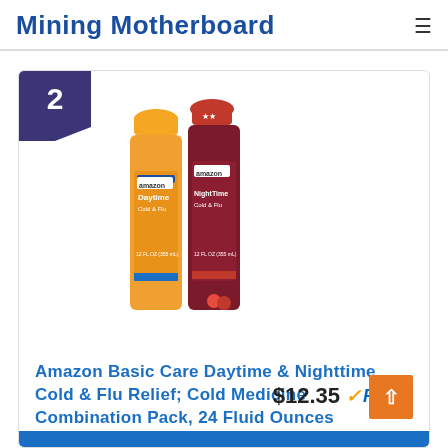Mining Motherboard
[Figure (photo): Amazon Basic Care Daytime and Nighttime Cold & Flu Relief liquid medicine bottles — one orange (Daytime) and one dark red (Nighttime)]
Amazon Basic Care Daytime & Nighttime Cold & Flu Relief; Cold Medicine Combination Pack, 24 Fluid Ounces
$12.35 ✓Prime